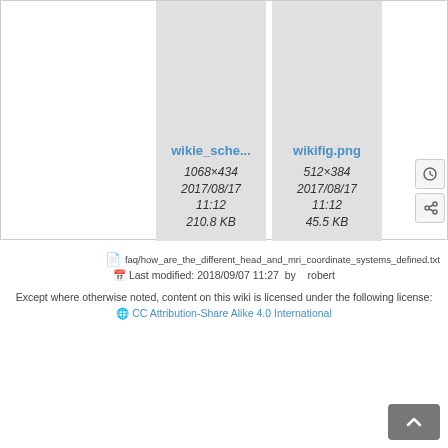[Figure (screenshot): Two file thumbnail cards on gray background: 'wikie_sche...' (1068×434, 2017/08/17 11:12, 210.8 KB) and 'wikifig.png' (512×384, 2017/08/17 11:12, 45.5 KB)]
faq/how_are_the_different_head_and_mri_coordinate_systems_defined.txt
Last modified: 2018/09/07 11:27  by  robert
Except where otherwise noted, content on this wiki is licensed under the following license: 🌐 CC Attribution-Share Alike 4.0 International